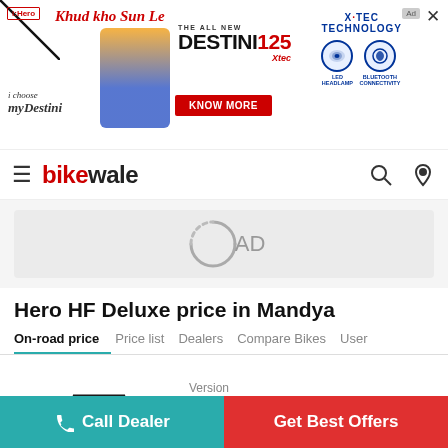[Figure (screenshot): Hero Destini 125 Xtec advertisement banner with logo, tagline 'Khud kho Sun Le', bike image, 'THE ALL NEW DESTINI 125 XTEC', KNOW MORE button, and XTEC TECHNOLOGY icons for LED Headlamp and Bluetooth Connectivity]
BikeWale
[Figure (other): AD placeholder circle with text 'AD']
Hero HF Deluxe price in Mandya
On-road price | Price list | Dealers | Compare Bikes | User
[Figure (photo): Hero HF Deluxe motorcycle in blue color]
Version
Kick Alloy BS6
Call Dealer | Get Best Offers